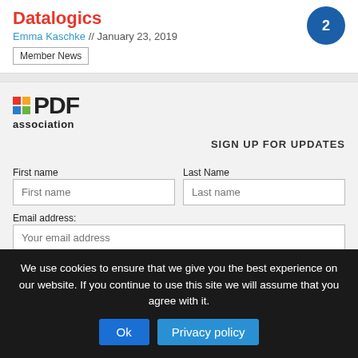Datalogics
Emma Kaschke // January 23, 2019
Member News
[Figure (logo): PDF Association logo with colored squares grid and bold PDF text]
SIGN UP FOR UPDATES
First name
Last Name
Email address:
We use cookies to ensure that we give you the best experience on our website. If you continue to use this site we will assume that you agree with it.
Ok   Privacy policy